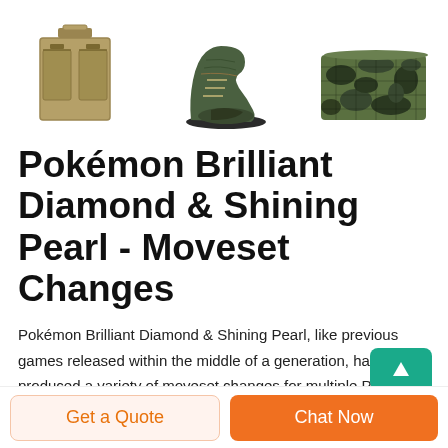[Figure (photo): Three product images at top: a military-style canvas bag/pouch, a hiking boot, and camouflage netting/fabric]
Pokémon Brilliant Diamond & Shining Pearl - Moveset Changes
Pokémon Brilliant Diamond & Shining Pearl, like previous games released within the middle of a generation, have produced a variety of moveset changes for multiple Pokémon. These changes are minor, providing new moves into the Pokémon's learnset, often in the form of the special moves they learn upon evolution. Below is a list of all the
[Figure (other): Green chat bubble with up arrow icon in bottom right corner]
Get a Quote
Chat Now